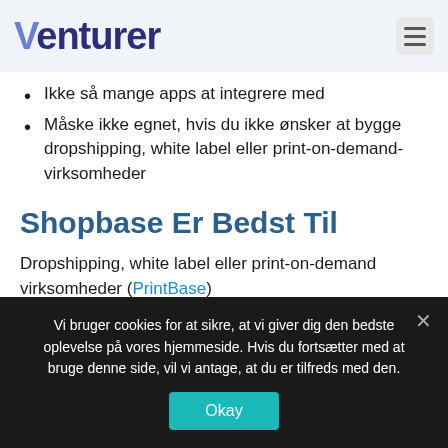Venturer
Ikke så mange apps at integrere med
Måske ikke egnet, hvis du ikke ønsker at bygge dropshipping, white label eller print-on-demand-virksomheder
Shopbase Er Bedst Til
Dropshipping, white label eller print-on-demand virksomheder (PrintBase)
Vi bruger cookies for at sikre, at vi giver dig den bedste oplevelse på vores hjemmeside. Hvis du fortsætter med at bruge denne side, vil vi antage, at du er tilfreds med den. Okay